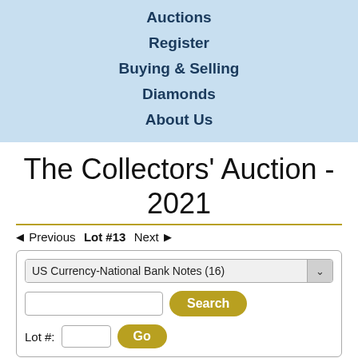Auctions
Register
Buying & Selling
Diamonds
About Us
The Collectors' Auction - 2021
◄ Previous  Lot #13  Next ►
US Currency-National Bank Notes (16)  Search  Lot #: Go